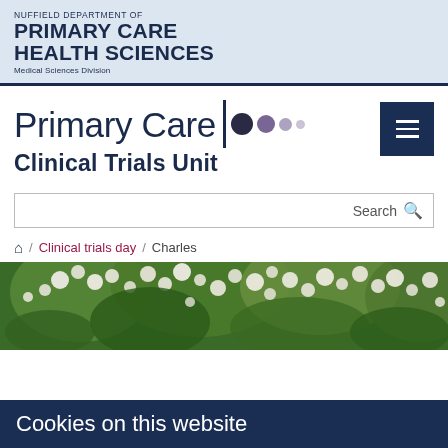NUFFIELD DEPARTMENT OF PRIMARY CARE HEALTH SCIENCES Medical Sciences Division
[Figure (logo): Primary Care Clinical Trials Unit logo with colored dots and pipe symbol]
[Figure (screenshot): Hamburger menu button (dark blue with three horizontal lines)]
[Figure (screenshot): Search bar with magnifying glass icon]
🏠 / Clinical trials day / Charles
[Figure (photo): Hero image showing flowering tree with white blossoms and green leaves]
Cookies on this website